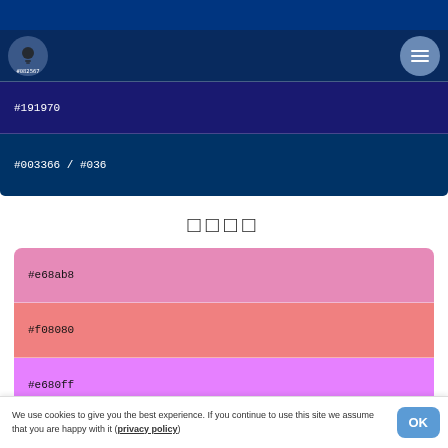[Figure (screenshot): Top navigation bar with dark navy background, a circular logo icon labeled #082567 on the left with a lightbulb, and a hamburger menu button on the right]
#082567
#191970
#003366 / #036
□□□□
#e68ab8
#f08080
#e680ff
We use cookies to give you the best experience. If you continue to use this site we assume that you are happy with it (privacy policy)